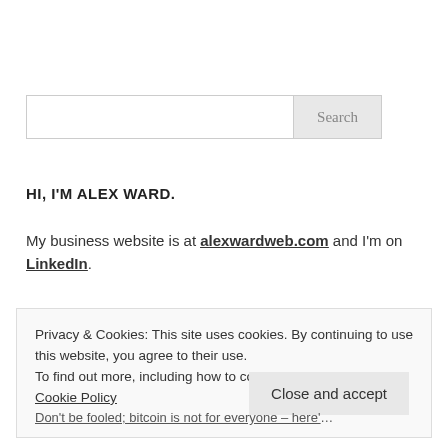[Figure (screenshot): Search input box with a Search button to the right]
HI, I'M ALEX WARD.
My business website is at alexwardweb.com and I'm on LinkedIn.
Privacy & Cookies: This site uses cookies. By continuing to use this website, you agree to their use.
To find out more, including how to control cookies, see here: Cookie Policy
Close and accept
Don't be fooled; bitcoin is not for everyone – here's why